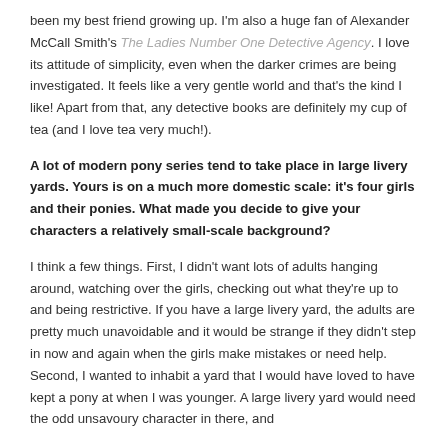been my best friend growing up. I'm also a huge fan of Alexander McCall Smith's The Ladies Number One Detective Agency. I love its attitude of simplicity, even when the darker crimes are being investigated. It feels like a very gentle world and that's the kind I like! Apart from that, any detective books are definitely my cup of tea (and I love tea very much!).
A lot of modern pony series tend to take place in large livery yards. Yours is on a much more domestic scale: it's four girls and their ponies. What made you decide to give your characters a relatively small-scale background?
I think a few things. First, I didn't want lots of adults hanging around, watching over the girls, checking out what they're up to and being restrictive. If you have a large livery yard, the adults are pretty much unavoidable and it would be strange if they didn't step in now and again when the girls make mistakes or need help. Second, I wanted to inhabit a yard that I would have loved to have kept a pony at when I was younger. A large livery yard would need the odd unsavoury character in there, and